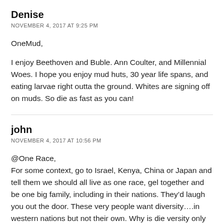Denise
NOVEMBER 4, 2017 AT 9:25 PM
OneMud,

I enjoy Beethoven and Buble. Ann Coulter, and Millennial Woes. I hope you enjoy mud huts, 30 year life spans, and eating larvae right outta the ground. Whites are signing off on muds. So die as fast as you can!
john
NOVEMBER 4, 2017 AT 10:56 PM
@One Race,
For some context, go to Israel, Kenya, China or Japan and tell them we should all live as one race, gel together and be one big family, including in their nations. They’d laugh you out the door. These very people want diversity....in western nations but not their own. Why is die versity only in WHITE